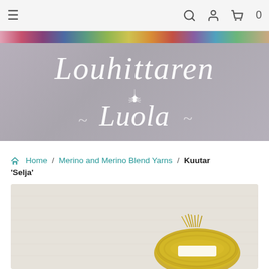Navigation bar with hamburger menu, search, user, cart icons, cart count: 0
[Figure (logo): Louhittaren Luola store logo in cursive white script on grey background with colorful knitted fabric strip at top]
🏠 Home / Merino and Merino Blend Yarns / Kuutar 'Selja'
[Figure (photo): Product photo showing a yellow/golden skein of yarn on a light grey/beige linen background]